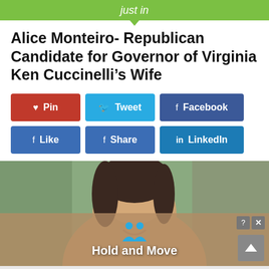just in
Alice Monteiro- Republican Candidate for Governor of Virginia Ken Cuccinelli’s Wife
[Figure (screenshot): Social sharing buttons: Pin (red), Tweet (cyan), Facebook (dark blue), Like (blue), Share (blue), LinkedIn (blue)]
[Figure (photo): Photo of a woman with dark hair smiling, background is blurred indoor setting. An advertisement overlay shows 'Hold and Move' text with two blue figures icon.]